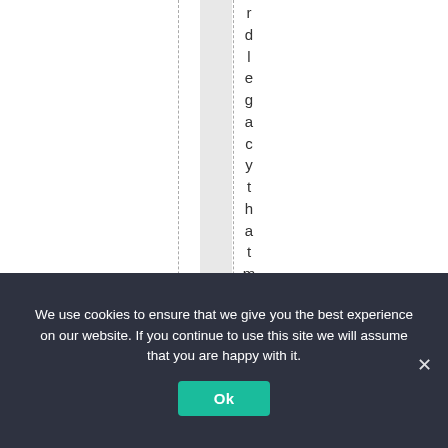rdlegacythatmanyof
We use cookies to ensure that we give you the best experience on our website. If you continue to use this site we will assume that you are happy with it.